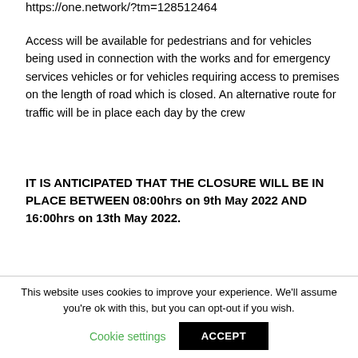https://one.network/?tm=128512464
Access will be available for pedestrians and for vehicles being used in connection with the works and for emergency services vehicles or for vehicles requiring access to premises on the length of road which is closed. An alternative route for traffic will be in place each day by the crew
IT IS ANTICIPATED THAT THE CLOSURE WILL BE IN PLACE BETWEEN 08:00hrs on 9th May 2022 AND 16:00hrs on 13th May 2022.
John Tradewell
This website uses cookies to improve your experience. We'll assume you're ok with this, but you can opt-out if you wish.